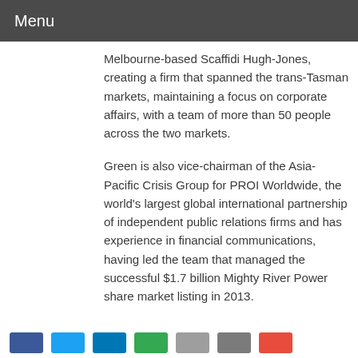Menu
Melbourne-based Scaffidi Hugh-Jones, creating a firm that spanned the trans-Tasman markets, maintaining a focus on corporate affairs, with a team of more than 50 people across the two markets.
Green is also vice-chairman of the Asia-Pacific Crisis Group for PROI Worldwide, the world's largest global international partnership of independent public relations firms and has experience in financial communications, having led the team that managed the successful $1.7 billion Mighty River Power share market listing in 2013.
Social share icons